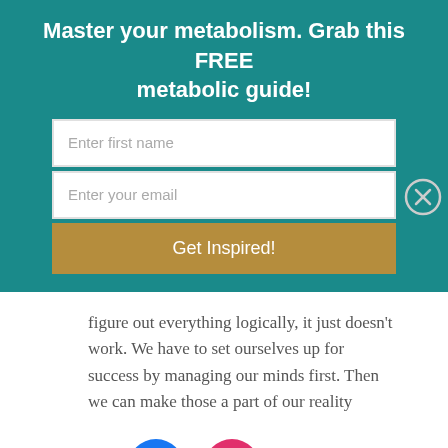Master your metabolism. Grab this FREE metabolic guide!
[Figure (screenshot): Email opt-in form with 'Enter first name' and 'Enter your email' input fields and a gold 'Get Inspired!' button, with a close (X) button on the right]
figure out everything logically, it just doesn't work. We have to set ourselves up for success by managing our minds first. Then we can make those a part of our reality
[Figure (other): Social media icons: Facebook (blue circle with f logo) and Instagram (pink circle with camera logo)]